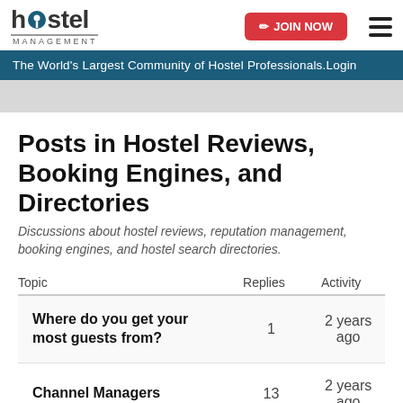hostel MANAGEMENT
JOIN NOW
The World's Largest Community of Hostel Professionals.Login
Posts in Hostel Reviews, Booking Engines, and Directories
Discussions about hostel reviews, reputation management, booking engines, and hostel search directories.
| Topic | Replies | Activity |
| --- | --- | --- |
| Where do you get your most guests from? | 1 | 2 years ago |
| Channel Managers | 13 | 2 years ago |